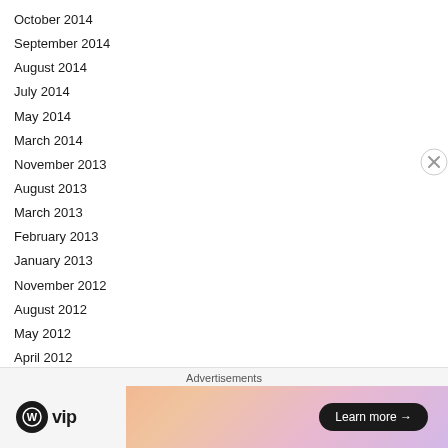October 2014
September 2014
August 2014
July 2014
May 2014
March 2014
November 2013
August 2013
March 2013
February 2013
January 2013
November 2012
August 2012
May 2012
April 2012
March 2012
February 2012
January 2012
December 2011
Advertisements
[Figure (other): WordPress VIP advertisement banner with gradient background and Learn more button]